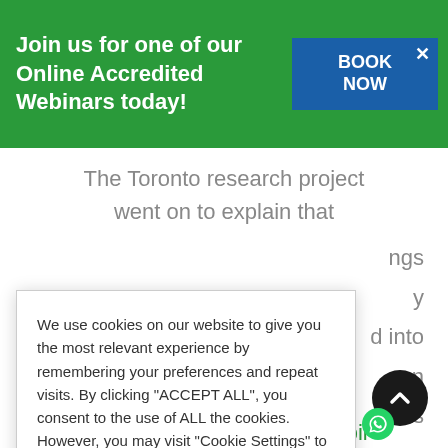Join us for one of our Online Accredited Webinars today!
The Toronto research project went on to explain that
ngs
y
d into
n
reas
e
We use cookies on our website to give you the most relevant experience by remembering your preferences and repeat visits. By clicking “ACCEPT ALL”, you consent to the use of ALL the cookies. However, you may visit "Cookie Settings" to provide a controlled consent.
Cookie Settings   REJECT ALL
ACCEPT
een
maximizing uncompacted soil